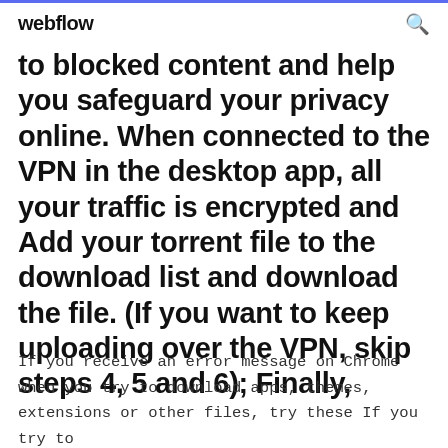webflow
to blocked content and help you safeguard your privacy online. When connected to the VPN in the desktop app, all your traffic is encrypted and Add your torrent file to the download list and download the file. (If you want to keep uploading over the VPN, skip steps 4, 5 and 6); Finally,
If you receive an error message on Chrome when you try to download apps, themes, extensions or other files, try these If you try to download a file and it doesn't work, try to fix